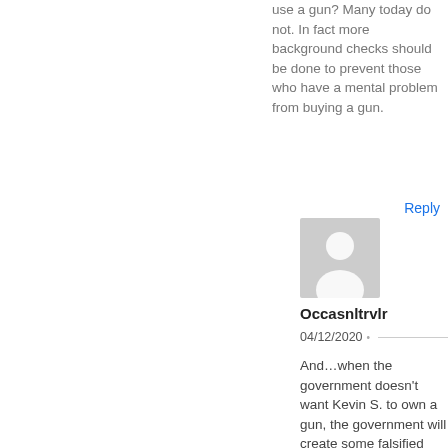use a gun? Many today do not. In fact more background checks should be done to prevent those who have a mental problem from buying a gun.
Reply
[Figure (illustration): Generic user avatar silhouette icon in grey]
Occasnltrvlr
04/12/2020
And…when the government doesn't want Kevin S. to own a gun, the government will create some falsified scenario whereby